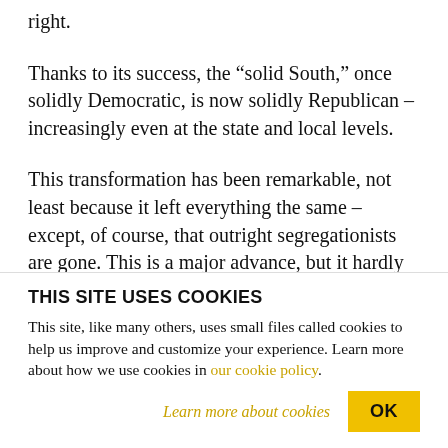right.
Thanks to its success, the “solid South,” once solidly Democratic, is now solidly Republican – increasingly even at the state and local levels.
This transformation has been remarkable, not least because it left everything the same – except, of course, that outright segregationists are gone. This is a major advance, but it hardly redounds to the Republicans’ credit.
[partial blurred text]
THIS SITE USES COOKIES
This site, like many others, uses small files called cookies to help us improve and customize your experience. Learn more about how we use cookies in our cookie policy.
Learn more about cookies
OK